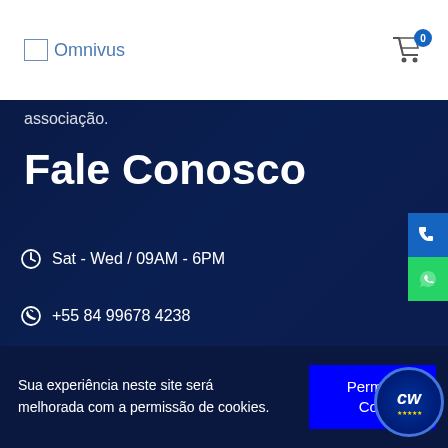Omnivus
associação.
Fale Conosco
Sat - Wed / 09AM - 6PM
+55 84 99678 4238
contato@cw2tecnologia.com.br
Sua experiência neste site será melhorada com a permissão de cookies.
Permitir Cookies